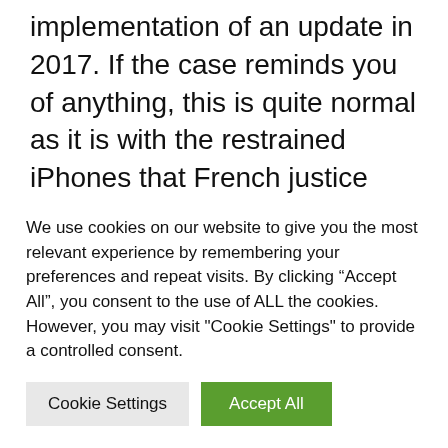implementation of an update in 2017. If the case reminds you of anything, this is quite normal as it is with the restrained iPhones that French justice had already taken a closer look at a few years ago.

Justin Gutmann, a consumer protection specialist, is demanding a fine of 768 million pounds from Apple (almost 900 million
We use cookies on our website to give you the most relevant experience by remembering your preferences and repeat visits. By clicking “Accept All”, you consent to the use of ALL the cookies. However, you may visit "Cookie Settings" to provide a controlled consent.